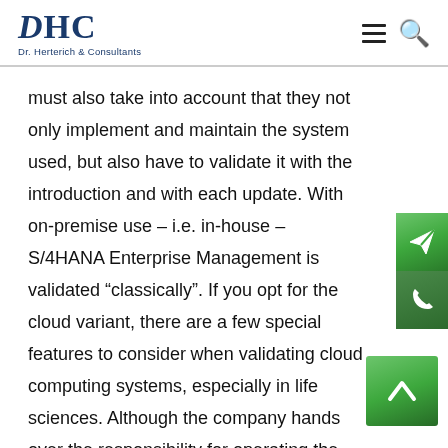DHC Dr. Herterich & Consultants
must also take into account that they not only implement and maintain the system used, but also have to validate it with the introduction and with each update. With on-premise use – i.e. in-house – S/4HANA Enterprise Management is validated “classically”. If you opt for the cloud variant, there are a few special features to consider when validating cloud computing systems, especially in life sciences. Although the company hands over the responsibility for operating the system and places it in the hands of the cloud provider, the responsibility for always remains with the client.
[Figure (other): Green send/paper-plane icon button on right side]
[Figure (other): Green phone icon button on right side]
[Figure (other): Green up-arrow/chevron icon button at bottom right]